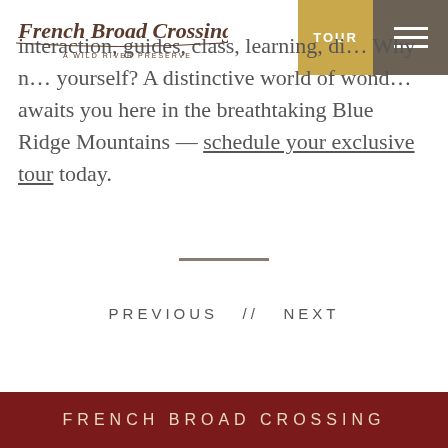[Figure (logo): French Broad Crossing - A Wild River Preserve logo in script/serif text]
TOUR
[Figure (other): Hamburger menu icon (three horizontal white lines on brown background)]
interaction, guides, class, learning, di... Why n... yourself? A distinctive world of wond... awaits you here in the breathtaking Blue Ridge Mountains — schedule your exclusive tour today.
PREVIOUS // NEXT
FRENCH BROAD CROSSING